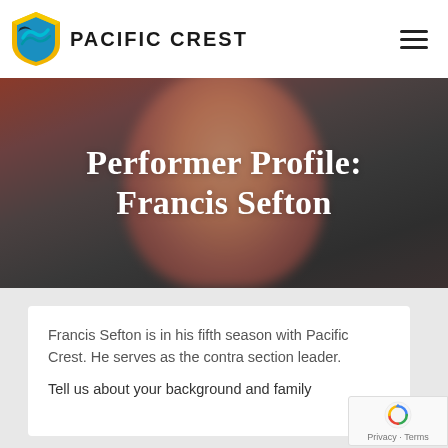PACIFIC CREST
Performer Profile:
Francis Sefton
Francis Sefton is in his fifth season with Pacific Crest. He serves as the contra section leader.
Tell us about your background and family